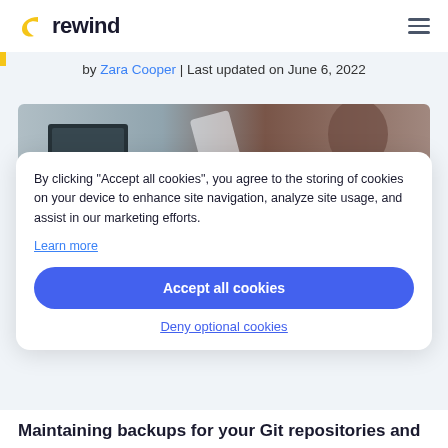rewind
by Zara Cooper | Last updated on June 6, 2022
[Figure (photo): Partial photo of a person working at a computer, visible from behind with warm brown tones]
By clicking "Accept all cookies", you agree to the storing of cookies on your device to enhance site navigation, analyze site usage, and assist in our marketing efforts. Learn more
Accept all cookies
Deny optional cookies
Maintaining backups for your Git repositories and